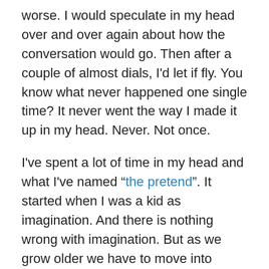worse.  I would speculate in my head over and over again about how the conversation would go.  Then after a couple of almost dials, I'd let if fly.  You know what never happened one single time?  It never went the way I made it up in my head.  Never.  Not once.
I've spent a lot of time in my head and what I've named “the pretend”.  It started when I was a kid as imagination.  And there is nothing wrong with imagination.  But as we grow older we have to move into something very important.  We have to live in the real.
Here's the thing, the key to health in anything, be it business, ministry or our personal life is to define the reality and then deal with it.  It's one of the key's to mental and emotional health.
But there are all sorts of ways to avoid reality.  We can